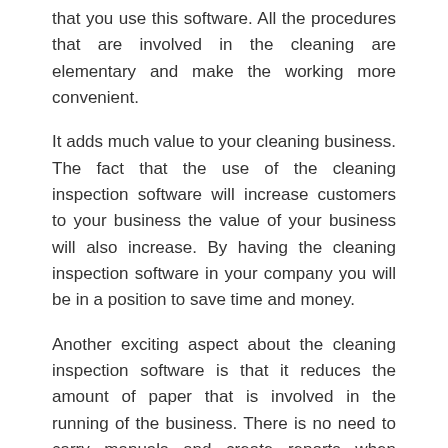that you use this software. All the procedures that are involved in the cleaning are elementary and make the working more convenient.
It adds much value to your cleaning business. The fact that the use of the cleaning inspection software will increase customers to your business the value of your business will also increase. By having the cleaning inspection software in your company you will be in a position to save time and money.
Another exciting aspect about the cleaning inspection software is that it reduces the amount of paper that is involved in the running of the business. There is no need to carry manuals and create reports when dealing with this software. The Data used in the initial process will be used in the processes that follow.
The security of data and the information used in the cleaning is assured. The software is designed in such a way that only the authorized persons are allowed to